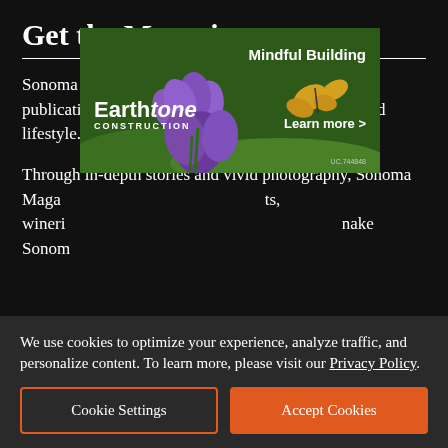Get the Magazine
Sonoma Magazine is an award-winning, bi-monthly publication that celebrates the Sonoma landscape and lifestyle.
Through in-depth stories and vivid photography, Sonoma Magazine…ts, wineri…nake Sonom…
[Figure (photo): Advertisement for Earthtone Construction featuring purple flowers with a butterfly, text 'Mindful Building', logo 'Earthtone CONSTRUCTION', 'Learn more >', and license UC.744848]
We use cookies to optimize your experience, analyze traffic, and personalize content. To learn more, please visit our Privacy Policy.
Cookie Settings
Accept Cookies